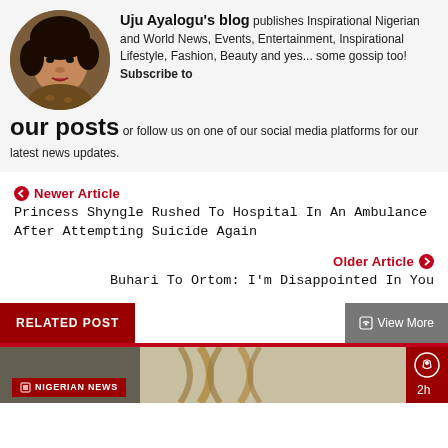[Figure (photo): Circular avatar photo of a woman with curly hair and leopard print clothing]
Uju Ayalogu's blog publishes Inspirational Nigerian and World News, Events, Entertainment, Inspirational Lifestyle, Fashion, Beauty and yes... some gossip too! Subscribe to our posts or follow us on one of our social media platforms for our latest news updates.
❮ Newer Article
Princess Shyngle Rushed To Hospital In An Ambulance After Attempting Suicide Again
Older Article ❯
Buhari To Ortom: I'm Disappointed In You
RELATED POST
View More
NIGERIAN NEWS
[Figure (photo): Preview image of rope/related article thumbnail at the bottom]